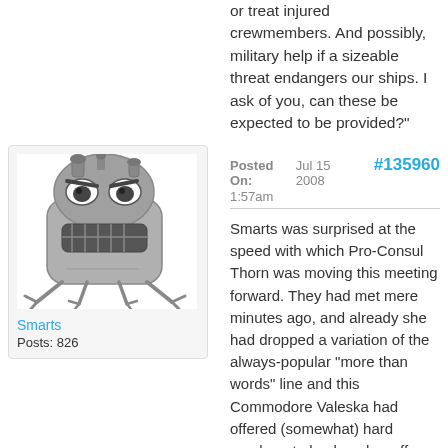or treat injured crewmembers. And possibly, military help if a sizeable threat endangers our ships. I ask of you, can these be expected to be provided?"
Posted On: Jul 15 2008 1:57am   #135960
[Figure (illustration): Cartoon robot character with angry face, claws/legs, grey metallic body]
Smarts
Posts: 826
Smarts was surprised at the speed with which Pro-Consul Thorn was moving this meeting forward. They had met mere minutes ago, and already she had dropped a variation of the always-popular "more than words" line and this Commodore Valeska had offered (somewhat) hard numbers to back up her offer. He was